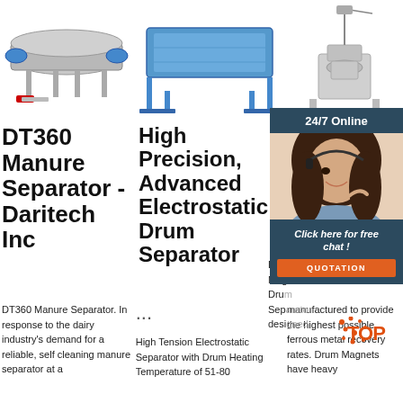[Figure (photo): Industrial round vibratory separator machine, stainless steel, with motors on sides]
[Figure (photo): Blue rectangular vibratory screen separator on metal frame]
[Figure (photo): Industrial drum magnet separator machine on metal stand]
[Figure (photo): Customer service woman with headset smiling, with 24/7 Online banner, Click here for free chat button, and QUOTATION button]
DT360 Manure Separator - Daritech Inc
High Precision, Advanced Electrostatic Drum Separator
Dr... M...
DT360 Manure Separator. In response to the dairy industry's demand for a reliable, self cleaning manure separator at a
... High Tension Electrostatic Separator with Drum Heating Temperature of 51-80
Drum... Mag... Drum Separator designed manufactured to provide the highest possible ferrous metal recovery rates. Drum Magnets have heavy